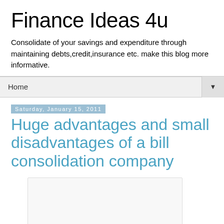Finance Ideas 4u
Consolidate of your savings and expenditure through maintaining debts,credit,insurance etc. make this blog more informative.
Home
Saturday, January 15, 2011
Huge advantages and small disadvantages of a bill consolidation company
[Figure (other): Blank image placeholder box]